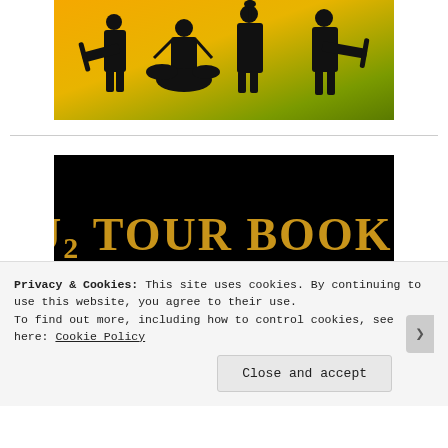[Figure (illustration): Silhouette of a rock band (4 musicians with instruments including guitar and drum kit) against an orange/yellow gradient background]
[Figure (logo): U2 Tour Books logo: black background with gold serif text reading 'U2 TOUR BOOKS' and '.wordpress.com' with decorative lines]
Privacy & Cookies: This site uses cookies. By continuing to use this website, you agree to their use. To find out more, including how to control cookies, see here: Cookie Policy
Close and accept